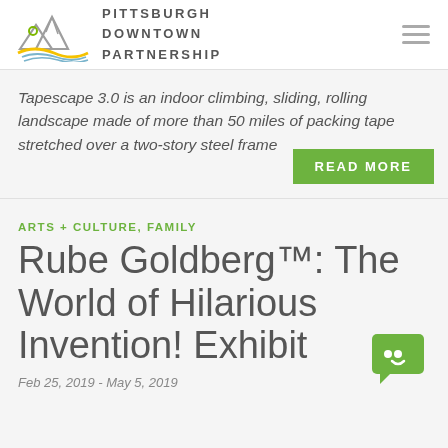PITTSBURGH DOWNTOWN PARTNERSHIP
Tapescape 3.0 is an indoor climbing, sliding, rolling landscape made of more than 50 miles of packing tape stretched over a two-story steel frame
READ MORE
ARTS + CULTURE, FAMILY
Rube Goldberg™: The World of Hilarious Invention! Exhibit
Feb 25, 2019 - May 5, 2019